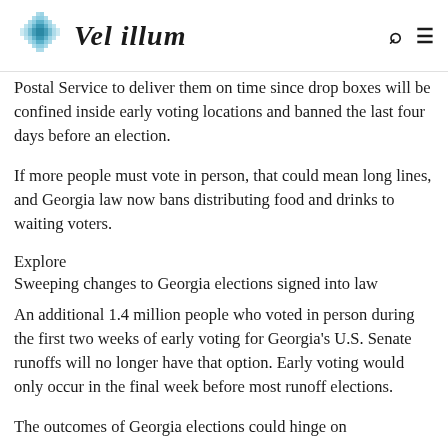Vel illum
Postal Service to deliver them on time since drop boxes will be confined inside early voting locations and banned the last four days before an election.
If more people must vote in person, that could mean long lines, and Georgia law now bans distributing food and drinks to waiting voters.
Explore
Sweeping changes to Georgia elections signed into law
An additional 1.4 million people who voted in person during the first two weeks of early voting for Georgia's U.S. Senate runoffs will no longer have that option. Early voting would only occur in the final week before most runoff elections.
The outcomes of Georgia elections could hinge on